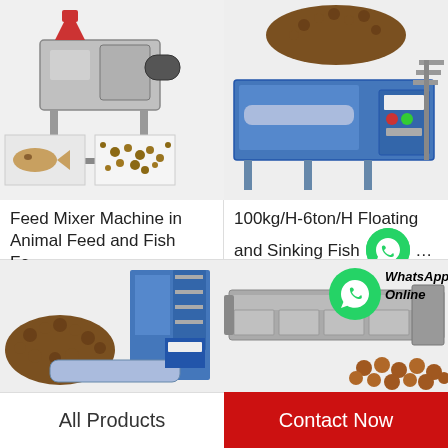[Figure (photo): Feed Mixer Machine - industrial feed mixing equipment with fish pellets shown]
Feed Mixer Machine in Animal Feed and Fish Fe…
[Figure (photo): 100kg/H-6ton/H Floating and Sinking Fish Feed extruder machine with pellets on top]
100kg/H-6ton/H Floating and Sinking Fish…
[Figure (photo): Fish feed pellet machine with large pile of brown pellets and industrial blue machinery]
[Figure (photo): Industrial fish feed dryer/processing line with brown round pellets in foreground, WhatsApp Online overlay]
All Products
Contact Now